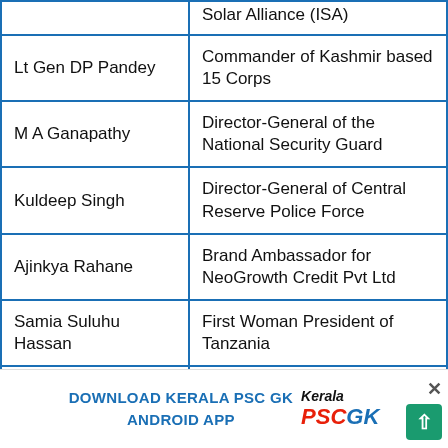| Name | Role/Title |
| --- | --- |
| [partial] | Solar Alliance (ISA) |
| Lt Gen DP Pandey | Commander of Kashmir based 15 Corps |
| M A Ganapathy | Director-General of the National Security Guard |
| Kuldeep Singh | Director-General of Central Reserve Police Force |
| Ajinkya Rahane | Brand Ambassador for NeoGrowth Credit Pvt Ltd |
| Samia Suluhu Hassan | First Woman President of Tanzania |
| Aparna Chennapragada | Chief Product Officer of Robinhood |
| [partial] | [partial - General Secretary of the...] |
DOWNLOAD KERALA PSC GK ANDROID APP